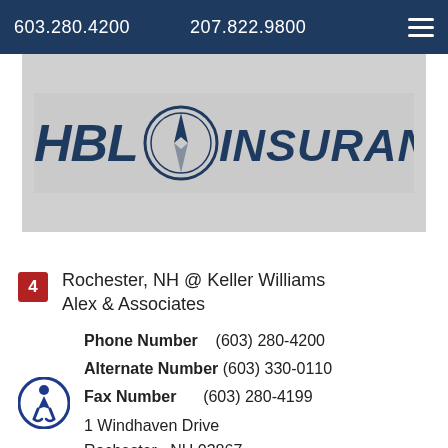603.280.4200   207.822.9800
[Figure (logo): HBL Insurance logo on a grey banner background with cars visible]
4   Rochester, NH @ Keller Williams Alex & Associates
Phone Number (603) 280-4200
Alternate Number (603) 330-0110
Fax Number (603) 280-4199
1 Windhaven Drive
Rochester , NH 03867
Location Map - Driving Directions -